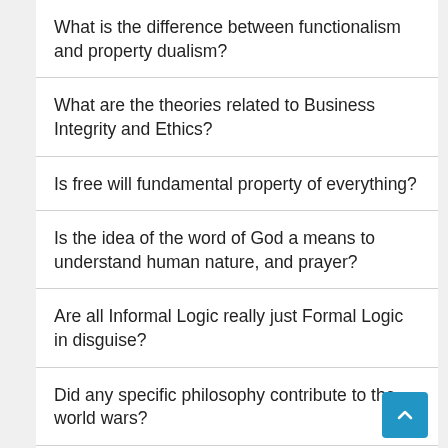What is the difference between functionalism and property dualism?
What are the theories related to Business Integrity and Ethics?
Is free will fundamental property of everything?
Is the idea of the word of God a means to understand human nature, and prayer?
Are all Informal Logic really just Formal Logic in disguise?
Did any specific philosophy contribute to the world wars?